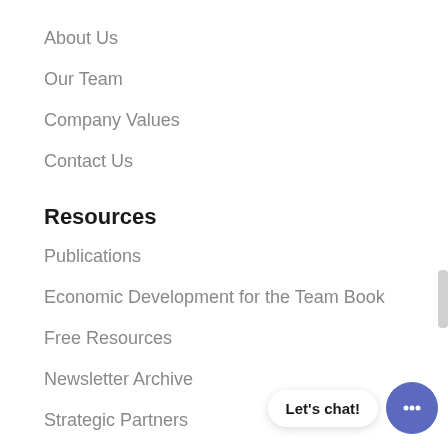About Us
Our Team
Company Values
Contact Us
Resources
Publications
Economic Development for the Team Book
Free Resources
Newsletter Archive
Strategic Partners
[Figure (infographic): Chat widget with 'Let's chat!' speech bubble and blue circular chat button with ellipsis icon]